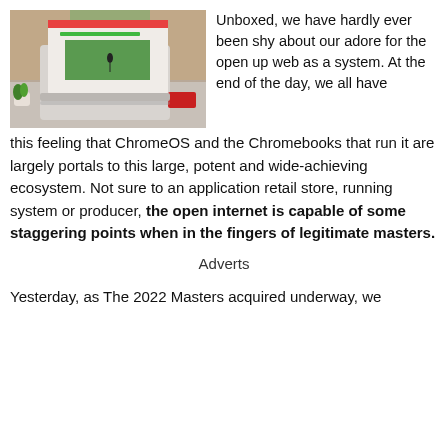[Figure (photo): Laptop on a desk showing a ChromeOS screen with a golf video, next to a small potted plant and a red book, on a grey surface with a couch in the background.]
Unboxed, we have hardly ever been shy about our adore for the open up web as a system. At the end of the day, we all have this feeling that ChromeOS and the Chromebooks that run it are largely portals to this large, potent and wide-achieving ecosystem. Not sure to an application retail store, running system or producer, the open internet is capable of some staggering points when in the fingers of legitimate masters.
Adverts
Yesterday, as The 2022 Masters acquired underway, we